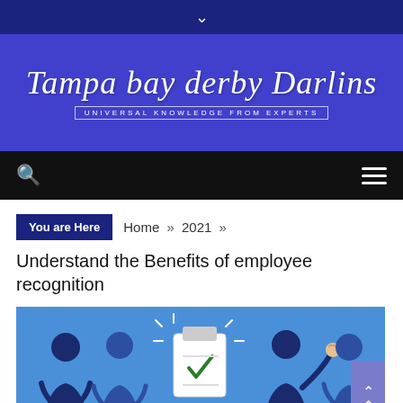▼
Tampa bay derby Darlins
UNIVERSAL KNOWLEDGE FROM EXPERTS
[Figure (infographic): Navigation bar with search icon and hamburger menu on black background]
You are Here  Home » 2021 »
Understand the Benefits of employee recognition
[Figure (illustration): Blue illustration showing business people in a team recognition scene with a clipboard checklist in the center]